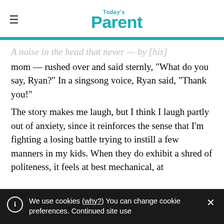Today's Parent
A noise in the head that never — by [his] mom — rushed over and said sternly, “What do you say, Ryan?” In a singsong voice, Ryan said, “Thank you!”
The story makes me laugh, but I think I laugh partly out of anxiety, since it reinforces the sense that I’m fighting a losing battle trying to instill a few manners in my kids. When they do exhibit a shred of politeness, it feels at best mechanical, at
We use cookies (why?) You can change cookie preferences. Continued site use